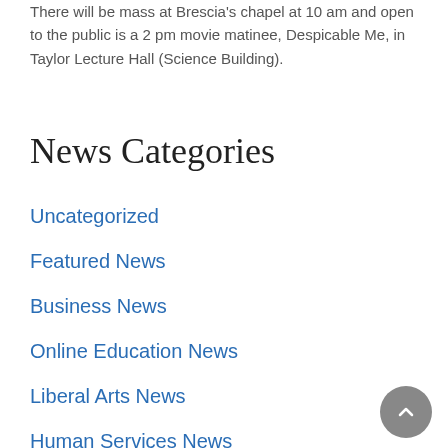There will be mass at Brescia’s chapel at 10 am and open to the public is a 2 pm movie matinee, Despicable Me, in Taylor Lecture Hall (Science Building).
News Categories
Uncategorized
Featured News
Business News
Online Education News
Liberal Arts News
Human Services News
Testimonials